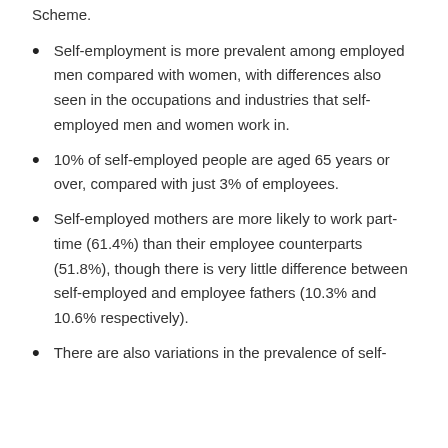Scheme.
Self-employment is more prevalent among employed men compared with women, with differences also seen in the occupations and industries that self-employed men and women work in.
10% of self-employed people are aged 65 years or over, compared with just 3% of employees.
Self-employed mothers are more likely to work part-time (61.4%) than their employee counterparts (51.8%), though there is very little difference between self-employed and employee fathers (10.3% and 10.6% respectively).
There are also variations in the prevalence of self-